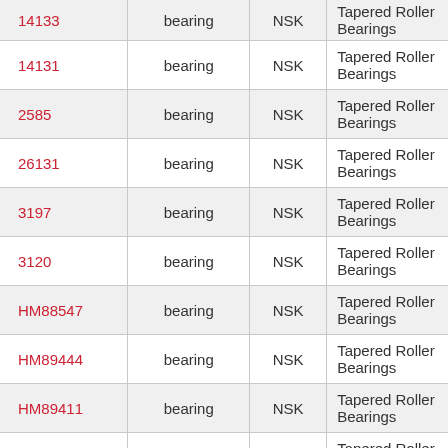| Part Number | Type | Brand | Category |
| --- | --- | --- | --- |
| 14133 | bearing | NSK | Tapered Roller Bearings |
| 14131 | bearing | NSK | Tapered Roller Bearings |
| 2585 | bearing | NSK | Tapered Roller Bearings |
| 26131 | bearing | NSK | Tapered Roller Bearings |
| 3197 | bearing | NSK | Tapered Roller Bearings |
| 3120 | bearing | NSK | Tapered Roller Bearings |
| HM88547 | bearing | NSK | Tapered Roller Bearings |
| HM89444 | bearing | NSK | Tapered Roller Bearings |
| HM89411 | bearing | NSK | Tapered Roller Bearings |
| HM89443 | bearing | NSK | Tapered Roller Bearings |
| HM89410 | bearing | NSK | Tapered Roller Bearings |
| 43131 | bearing | NSK | Tapered Roller Bearings |
| 43312 | bearing | NSK | Tapered Roller Bearings |
| 41126 | bearing | NSK | Tapered Roller Bearings |
| 02872 | bearing | NSK | Tapered Roller Bearings |
| 02820 | bearing | NSK | Tapered Roller Bearings |